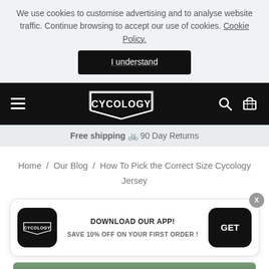We use cookies to customise advertising and to analyse website traffic. Continue browsing to accept our use of cookies. Cookie Policy.
I understand
[Figure (logo): Cycology brand logo and navigation bar with hamburger menu, search icon, and cart icon on black background]
Free shipping 🚲 90 Day Returns
Home / Our Blog / How To Pick the Correct Size Cycology Jersey
DOWNLOAD OUR APP! SAVE 10% OFF ON YOUR FIRST ORDER!
[Figure (photo): Partial view of a cyclist in an orange jersey against a green tree background]